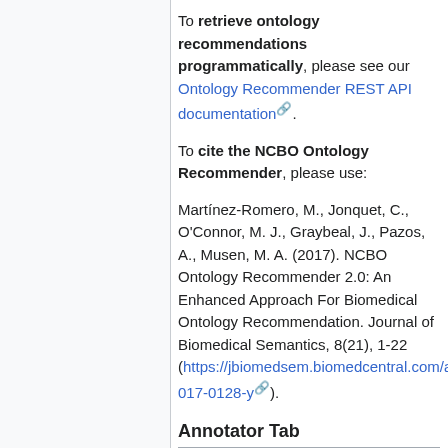To retrieve ontology recommendations programmatically, please see our Ontology Recommender REST API documentation.
To cite the NCBO Ontology Recommender, please use:
Martínez-Romero, M., Jonquet, C., O'Connor, M. J., Graybeal, J., Pazos, A., Musen, M. A. (2017). NCBO Ontology Recommender 2.0: An Enhanced Approach For Biomedical Ontology Recommendation. Journal of Biomedical Semantics, 8(21), 1-22 (https://jbiomedsem.biomedcentral.com/articles/10.1186/s13326-017-0128-y).
Annotator Tab
To generate annotations for text, simply enter text in the box and press